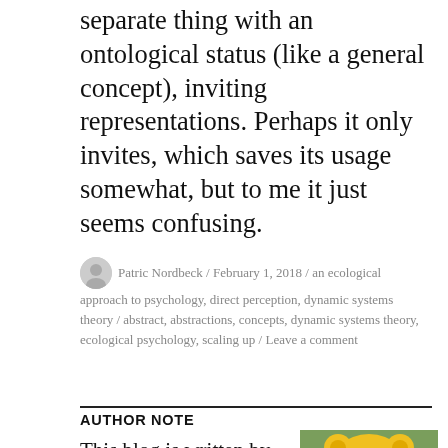separate thing with an ontological status (like a general concept), inviting representations. Perhaps it only invites, which saves its usage somewhat, but to me it just seems confusing.
Patric Nordbeck / February 1, 2018 / an ecological approach to psychology, direct perception, dynamic systems theory / abstract, abstractions, concepts, dynamic systems theory, ecological psychology, scaling up / Leave a comment
AUTHOR NOTE
This blog is written by Patric Nordbeck, currently a doctoral candidate at University of
[Figure (photo): Photo of a man wearing a yellow bear/animal hat/hood, outdoors, slightly blurred background.]